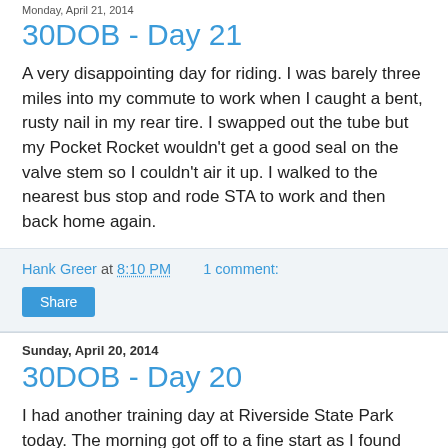Monday, April 21, 2014
30DOB - Day 21
A very disappointing day for riding. I was barely three miles into my commute to work when I caught a bent, rusty nail in my rear tire. I swapped out the tube but my Pocket Rocket wouldn't get a good seal on the valve stem so I couldn't air it up. I walked to the nearest bus stop and rode STA to work and then back home again.
Hank Greer at 8:10 PM    1 comment:
Share
Sunday, April 20, 2014
30DOB - Day 20
I had another training day at Riverside State Park today. The morning got off to a fine start as I found the Wilber Trailhead almost completely full at 10:00 am. There was a slot open on the edge of the circular parking and there was a spot in the